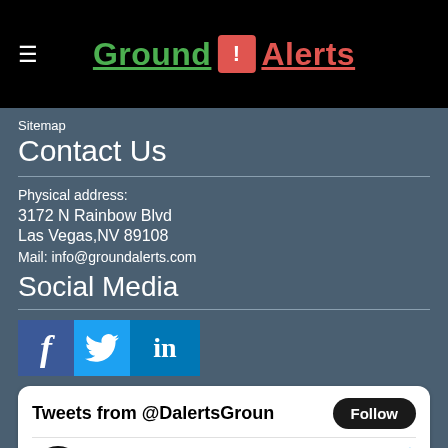Ground ! Alerts
Sitemap
Contact Us
Physical address:
3172 N Rainbow Blvd
Las Vegas,NV 89108
Mail: info@groundalerts.com
Social Media
[Figure (logo): Social media icons: Facebook, Twitter, LinkedIn]
Tweets from @DalertsGroun  Follow
ground_alerts @DalertsGroun · Jun 28
Twitter to launch a new edit feature, but only for select users